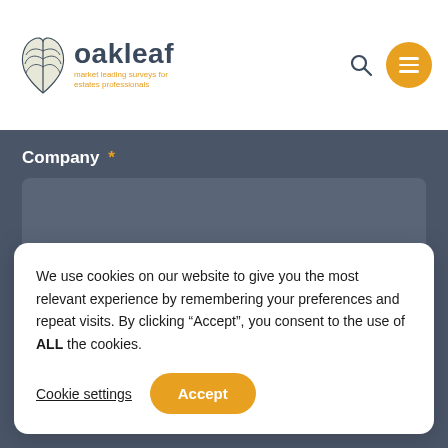[Figure (logo): Oakleaf logo with oak leaf illustration and text 'oakleaf' with tagline 'market leading surveys for estates professionals']
Company *
Telephone
We use cookies on our website to give you the most relevant experience by remembering your preferences and repeat visits. By clicking "Accept", you consent to the use of ALL the cookies.
Cookie settings
Accept